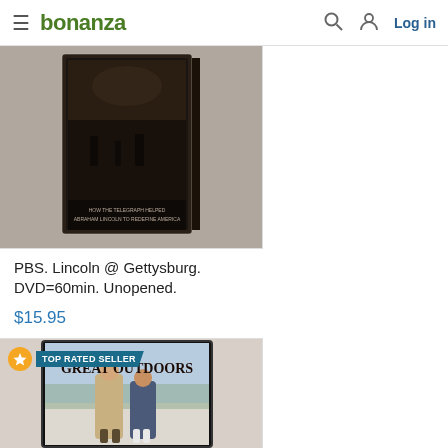bonanza  Log in
[Figure (photo): DVD product photo of PBS Lincoln at Gettysburg documentary, dark cover with historical imagery]
PBS. Lincoln @ Gettysburg. DVD=60min. Unopened.
$15.95
[Figure (photo): DVD cover of The Great Outdoors movie, showing two men standing outdoors, with TOP RATED SELLER badge overlay]